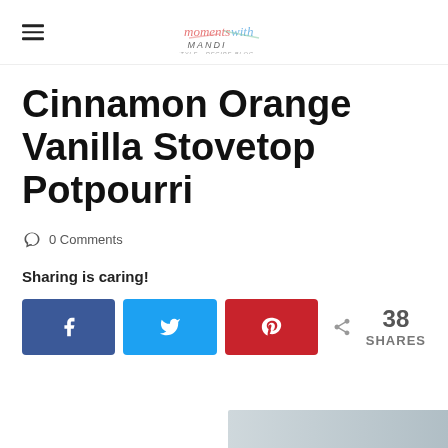moments with MANDI
Cinnamon Orange Vanilla Stovetop Potpourri
0 Comments
Sharing is caring!
[Figure (other): Social share buttons: Facebook (f), Twitter (bird), Pinterest (p), and share count showing 38 SHARES]